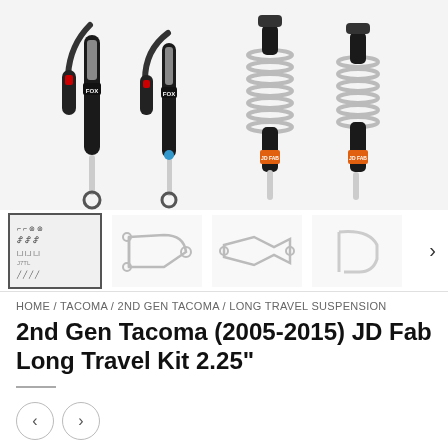[Figure (photo): Four FOX brand shock absorbers and coilover suspension components displayed against a light gray background. Two remote-reservoir shocks on the left (black with hoses), and two coilover spring shocks on the right with orange JD Fab branding.]
[Figure (photo): Thumbnail gallery row showing: (1) selected thumbnail of full kit diagram with suspension parts layout, (2) A-arm/control arm, (3) crossmember bracket parts, (4) bent bracket/hanger part. Arrow on right indicates more images.]
HOME / TACOMA / 2ND GEN TACOMA / LONG TRAVEL SUSPENSION
2nd Gen Tacoma (2005-2015) JD Fab Long Travel Kit 2.25"